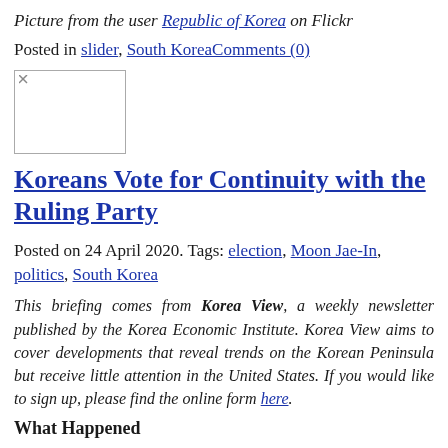Picture from the user Republic of Korea on Flickr
Posted in slider, South KoreaComments (0)
[Figure (photo): Thumbnail image placeholder with broken image icon]
Koreans Vote for Continuity with the Ruling Party
Posted on 24 April 2020. Tags: election, Moon Jae-In, politics, South Korea
This briefing comes from Korea View, a weekly newsletter published by the Korea Economic Institute. Korea View aims to cover developments that reveal trends on the Korean Peninsula but receive little attention in the United States. If you would like to sign up, please find the online form here.
What Happened
On April 15, South Korea held its 20th National Assembly election.